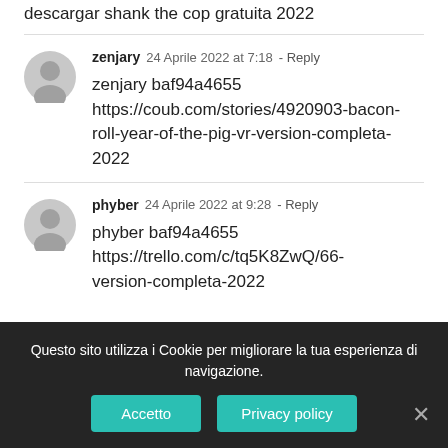descargar shank the cop gratuita 2022
zenjary  24 Aprile 2022 at 7:18 - Reply
zenjary baf94a4655 https://coub.com/stories/4920903-bacon-roll-year-of-the-pig-vr-version-completa-2022
phyber  24 Aprile 2022 at 9:28 - Reply
phyber baf94a4655 https://trello.com/c/tq5K8ZwQ/66-...version-completa-2022
Questo sito utilizza i Cookie per migliorare la tua esperienza di navigazione.